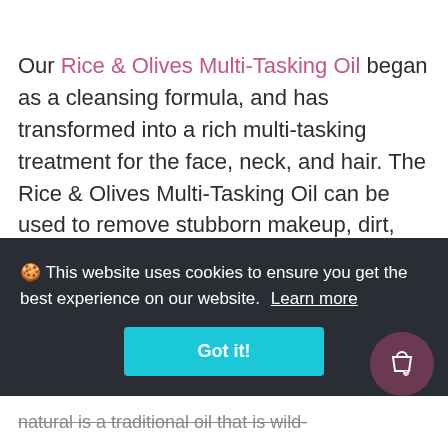Our Rice & Olives Multi-Tasking Oil began as a cleansing formula, and has transformed into a rich multi-tasking treatment for the face, neck, and hair. The Rice & Olives Multi-Tasking Oil can be used to remove stubborn makeup, dirt, and excess oil without stripping facial skin of essential moisture. And it can even be used as a post-cleansing treatment, leaving skin feeling supple and smooth.
🍪 This website uses cookies to ensure you get the best experience on our website. Learn more
Got it!